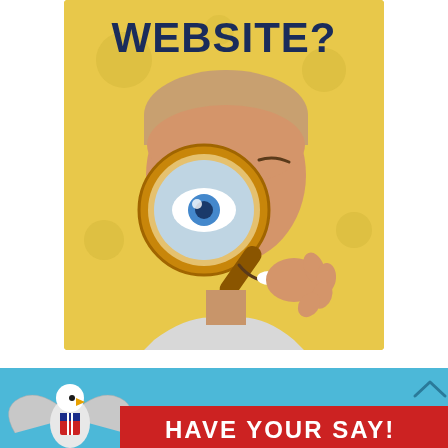[Figure (photo): Yellow-background poster showing the word WEBSITE? in dark blue bold text at the top, with a photo of a young boy smiling and holding a magnifying glass up to his eye against a yellow polka-dot background.]
[Figure (infographic): Light blue banner at the bottom with a US eagle emblem/logo on the left, a red diagonal banner reading HAVE YOUR SAY! in white bold uppercase text, and a chevron/arrow up icon on the right.]